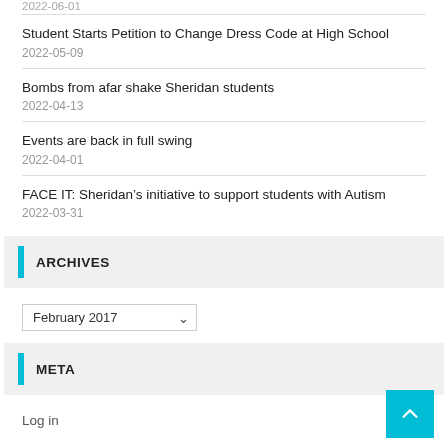2022-06-01
Student Starts Petition to Change Dress Code at High School
2022-05-09
Bombs from afar shake Sheridan students
2022-04-13
Events are back in full swing
2022-04-01
FACE IT: Sheridan’s initiative to support students with Autism
2022-03-31
ARCHIVES
February 2017
META
Log in